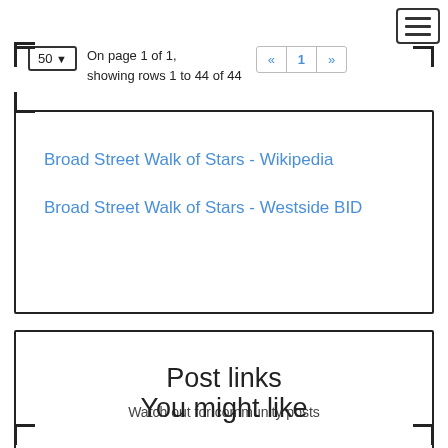[Figure (screenshot): Hamburger menu button icon, top right corner]
50 ▾  On page 1 of 1, showing rows 1 to 44 of 44  « 1 »
Broad Street Walk of Stars - Wikipedia
Broad Street Walk of Stars - Westside BID
Post links
Watch out for community posts
You might like